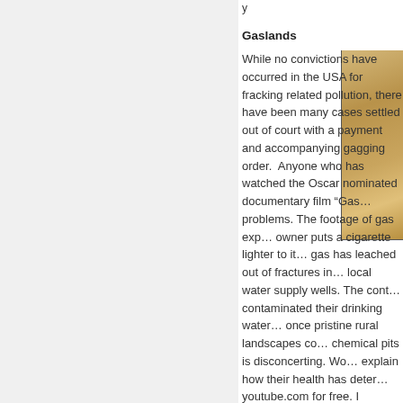...y
Gaslands
While no convictions have occurred in the USA for fracking related pollution, there have been many cases settled out of court with a payment and accompanying gagging order.  Anyone who has watched the Oscar nominated documentary film “Gas... problems. The footage of gas exp... owner puts a cigarette lighter to it... gas has leached out of fractures in... local water supply wells. The cont... contaminated their drinking water... once pristine rural landscapes co... chemical pits is disconcerting. Wo... explain how their health has deter... youtube.com for free. I suggest yo...
[Figure (photo): Photograph showing what appears to be a wooden or sandy-colored surface, partially visible on the right side of the page alongside the Gaslands section text.]